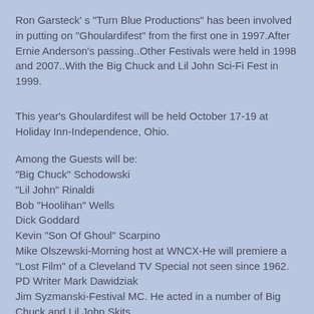Ron Garsteck' s "Turn Blue Productions" has been involved in putting on "Ghoulardifest" from the first one in 1997.After Ernie Anderson's passing..Other Festivals were held in 1998 and 2007..With the Big Chuck and Lil John Sci-Fi Fest in 1999.
This year's Ghoulardifest will be held October 17-19 at Holiday Inn-Independence, Ohio.
Among the Guests will be:
"Big Chuck" Schodowski
"Lil John" Rinaldi
Bob "Hoolihan" Wells
Dick Goddard
Kevin "Son Of Ghoul" Scarpino
Mike Olszewski-Morning host at WNCX-He will premiere a "Lost Film" of a Cleveland TV Special not seen since 1962.
PD Writer Mark Dawidziak
Jim Syzmanski-Festival MC. He acted in a number of Big Chuck and Lil John Skits.